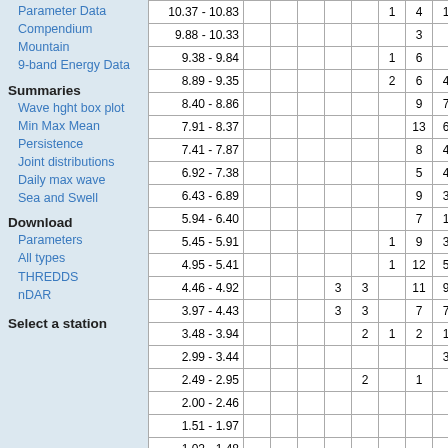Parameter Data
Compendium
Mountain
9-band Energy Data
Summaries
Wave hght box plot
Min Max Mean
Persistence
Joint distributions
Daily max wave
Sea and Swell
Download
Parameters
All types
THREDDS
nDAR
Select a station
| Range |  |  |  |  |  |  |  |  |  |
| --- | --- | --- | --- | --- | --- | --- | --- | --- | --- |
| 10.37 - 10.83 |  |  |  |  |  | 1 | 4 | 1 |  |
| 9.88 - 10.33 |  |  |  |  |  |  | 3 |  |  |
| 9.38 - 9.84 |  |  |  |  |  | 1 | 6 |  |  |
| 8.89 - 9.35 |  |  |  |  |  | 2 | 6 | 4 |  |
| 8.40 - 8.86 |  |  |  |  |  |  | 9 | 7 |  |
| 7.91 - 8.37 |  |  |  |  |  |  | 13 | 6 |  |
| 7.41 - 7.87 |  |  |  |  |  |  | 8 | 4 |  |
| 6.92 - 7.38 |  |  |  |  |  |  | 5 | 4 |  |
| 6.43 - 6.89 |  |  |  |  |  |  | 9 | 3 |  |
| 5.94 - 6.40 |  |  |  |  |  |  | 7 | 1 |  |
| 5.45 - 5.91 |  |  |  |  |  | 1 | 9 | 3 | 1 |
| 4.95 - 5.41 |  |  |  |  |  | 1 | 12 | 5 | 3 |
| 4.46 - 4.92 |  |  |  | 3 | 3 |  | 11 | 9 | 2 |
| 3.97 - 4.43 |  |  |  | 3 | 3 |  | 7 | 7 | 2 |
| 3.48 - 3.94 |  |  |  |  | 2 | 1 | 2 | 1 | 2 |
| 2.99 - 3.44 |  |  |  |  |  |  |  | 3 | 2 |
| 2.49 - 2.95 |  |  |  |  | 2 |  | 1 |  | 2 |
| 2.00 - 2.46 |  |  |  |  |  |  |  |  |  |
| 1.51 - 1.97 |  |  |  |  |  |  |  |  |  |
| 1.02 - 1.48 |  |  |  |  |  |  |  |  |  |
| 0.52 - 0.98 |  |  |  |  |  |  |  |  |  |